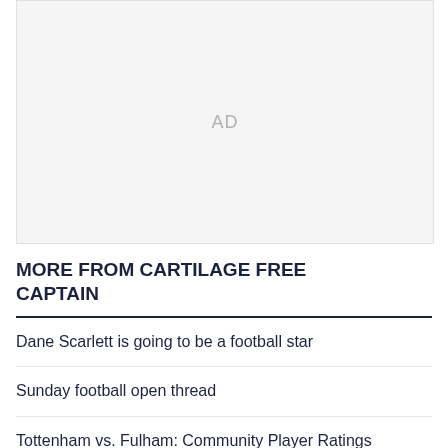[Figure (other): Advertisement placeholder box with 'AD' text in gray]
MORE FROM CARTILAGE FREE CAPTAIN
Dane Scarlett is going to be a football star
Sunday football open thread
Tottenham vs. Fulham: Community Player Ratings